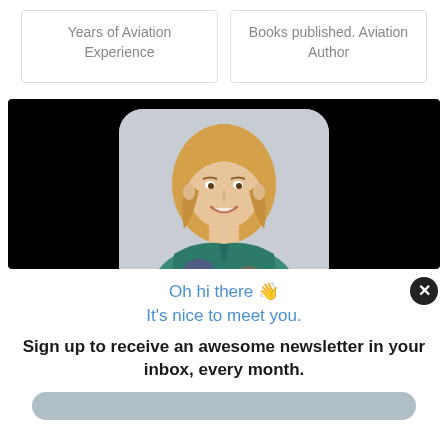Years of Aviation Experience
Books published. Aviation Author
[Figure (photo): Portrait photo of a blonde woman smiling, wearing a teal/colorful blouse, displayed on a black banner background]
Oh hi there 👋 It's nice to meet you.
Sign up to receive an awesome newsletter in your inbox, every month.